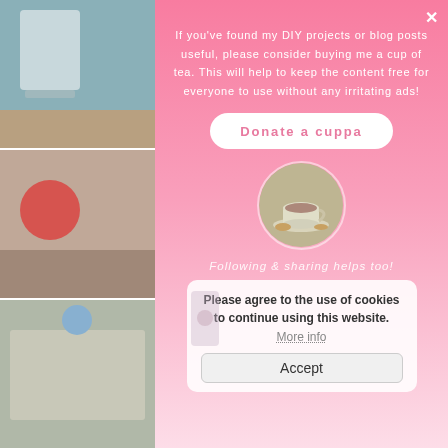[Figure (screenshot): Website screenshot with a modal popup overlay. The modal has a pink gradient background. Background shows blog post images on the left and teal text on the right. The modal contains a message about DIY projects, a Donate a cuppa button, a circular tea cup image, a 'Following & sharing helps too!' italic text, and a cookie consent box with Accept button.]
If you've found my DIY projects or blog posts useful, please consider buying me a cup of tea. This will help to keep the content free for everyone to use without any irritating ads!
Donate a cuppa
Following & sharing helps too!
Please agree to the use of cookies to continue using this website. More info
Accept